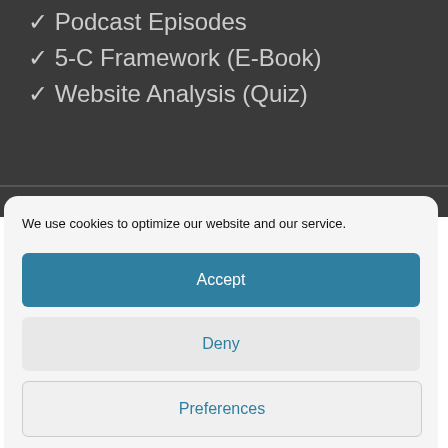✓ Podcast Episodes
✓ 5-C Framework (E-Book)
✓ Website Analysis (Quiz)
We use cookies to optimize our website and our service.
Accept
Deny
Preferences
Cookie Policy   Privacy Policy